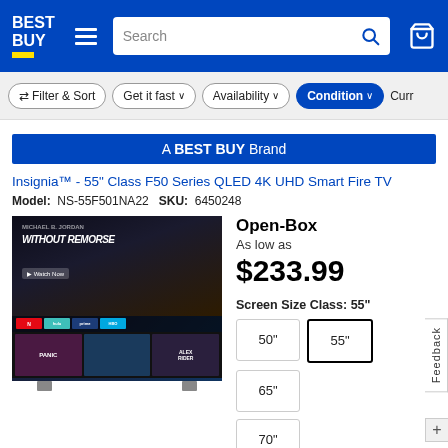[Figure (screenshot): Best Buy website header with logo, hamburger menu, search bar, and cart icon on blue background]
Filter & Sort | Get it fast | Availability | Condition | Curr...
[Figure (infographic): Blue banner reading: A BEST BUY Brand]
Insignia™ - 55" Class F50 Series QLED 4K UHD Smart Fire TV
Model: NS-55F501NA22   SKU: 6450248
[Figure (photo): 55-inch Insignia smart TV displaying Fire TV interface with movies and streaming apps including Netflix, Hulu, and others. TV has stands.]
Open-Box
As low as
$233.99
Screen Size Class: 55"
Size options: 50", 55" (selected), 65", 70"
★★★★½ (801)